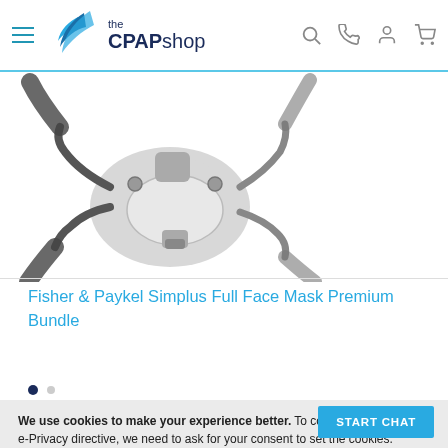the CPAP shop
[Figure (photo): Fisher & Paykel Simplus Full Face CPAP mask product photo showing mask assembly with headgear straps]
Fisher & Paykel Simplus Full Face Mask Premium Bundle
We use cookies to make your experience better. To comply with the new e-Privacy directive, we need to ask for your consent to set the cookies. Cookies Policy.
ALLOW COOKIES
START CHAT